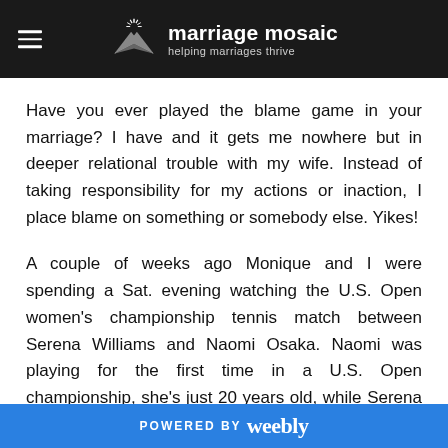marriage mosaic — helping marriages thrive
Have you ever played the blame game in your marriage? I have and it gets me nowhere but in deeper relational trouble with my wife. Instead of taking responsibility for my actions or inaction, I place blame on something or somebody else. Yikes!
A couple of weeks ago Monique and I were spending a Sat. evening watching the U.S. Open women's championship tennis match between Serena Williams and Naomi Osaka. Naomi was playing for the first time in a U.S. Open championship, she's just 20 years old, while Serena is notably one of the greatest women's tennis players of all time. Serena was Noami's idol as a young girl playing
POWERED BY weebly